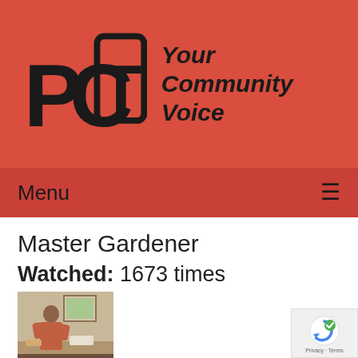[Figure (logo): PCTV logo with TV screen shape letters and tagline 'Your Community Voice' on red background]
Menu ≡
Master Gardener
Watched: 1673 times
[Figure (photo): Thumbnail photo of a person standing indoors with a painting on the wall behind them]
The Propagation of Annuals
Airdate: 07/19/2008